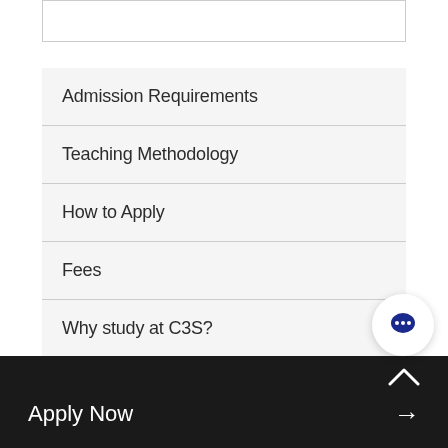Admission Requirements
Teaching Methodology
How to Apply
Fees
Why study at C3S?
Apply Now →